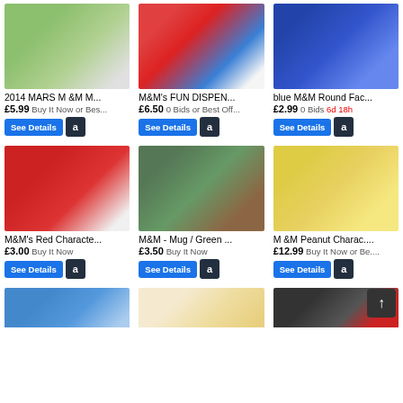[Figure (photo): Green M&M plush character toy sitting on white surface]
2014 MARS M &M M...
£5.99 Buy It Now or Bes...
[Figure (photo): M&M's Fun Dispenser, red and blue candy dispenser on table]
M&M's FUN DISPEN...
£6.50 0 Bids or Best Off...
[Figure (photo): Blue M&M round face frisbee/disc]
blue M&M Round Fac...
£2.99 0 Bids 6d 18h
[Figure (photo): M&M's Red Character with captain hat figure]
M&M's Red Characte...
£3.00 Buy It Now
[Figure (photo): M&M Mug Green character mug]
M&M - Mug / Green ...
£3.50 Buy It Now
[Figure (photo): M&M Peanut Character yellow mug]
M &M Peanut Charac....
£12.99 Buy It Now or Be....
[Figure (photo): Green M&M character figure, partially visible]
[Figure (photo): Beige/tan background item, partially visible]
[Figure (photo): Small red M&M character item, partially visible]